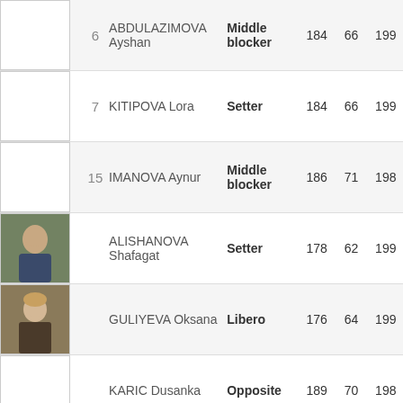| Photo | # | Name | Position | Height | Weight | Year |
| --- | --- | --- | --- | --- | --- | --- |
| [photo] | 6 | ABDULAZIMOVA Ayshan | Middle blocker | 184 | 66 | 199 |
| [photo] | 7 | KITIPOVA Lora | Setter | 184 | 66 | 199 |
| [photo] | 15 | IMANOVA Aynur | Middle blocker | 186 | 71 | 198 |
| [photo] |  | ALISHANOVA Shafagat | Setter | 178 | 62 | 199 |
| [photo] |  | GULIYEVA Oksana | Libero | 176 | 64 | 199 |
| [photo] |  | KARIC Dusanka | Opposite | 189 | 70 | 198 |
| [photo] |  | KARIMOVA Ulkar | Opposite | 178 | 60 | 199 |